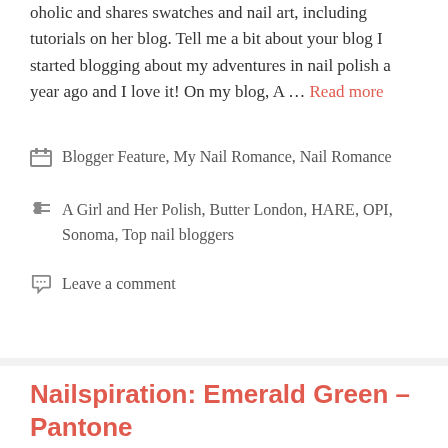oholic and shares swatches and nail art, including tutorials on her blog. Tell me a bit about your blog I started blogging about my adventures in nail polish a year ago and I love it! On my blog, A … Read more
Categories: Blogger Feature, My Nail Romance, Nail Romance
Tags: A Girl and Her Polish, Butter London, HARE, OPI, Sonoma, Top nail bloggers
Leave a comment
Nailspiration: Emerald Green – Pantone